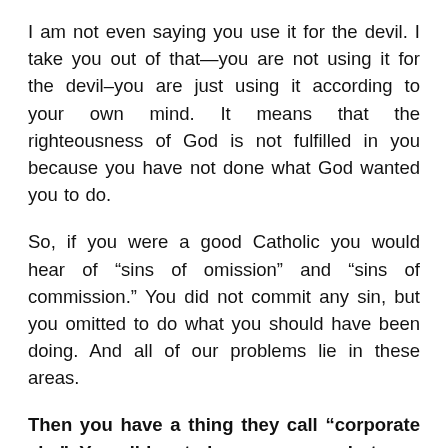I am not even saying you use it for the devil. I take you out of that—you are not using it for the devil–you are just using it according to your own mind. It means that the righteousness of God is not fulfilled in you because you have not done what God wanted you to do.
So, if you were a good Catholic you would hear of “sins of omission” and “sins of commission.” You did not commit any sin, but you omitted to do what you should have been doing. And all of our problems lie in these areas.
Then you have a thing they call “corporate sin.” You did not do any wrong, but you only heard about the wrong that some people did, and you agreed with them. Amen? If you are a good Democrat you will agree with Mr. Clinton, because he is a Democrat. So whatever he does wrong, you become a party to it, because you are